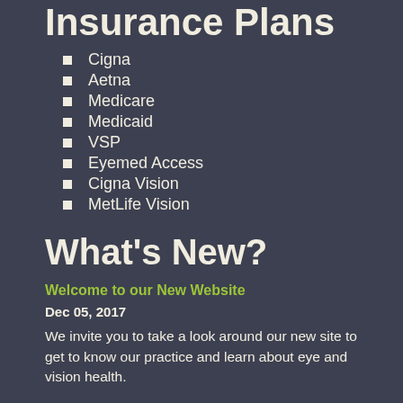Insurance Plans
Cigna
Aetna
Medicare
Medicaid
VSP
Eyemed Access
Cigna Vision
MetLife Vision
What's New?
Welcome to our New Website
Dec 05, 2017
We invite you to take a look around our new site to get to know our practice and learn about eye and vision health.